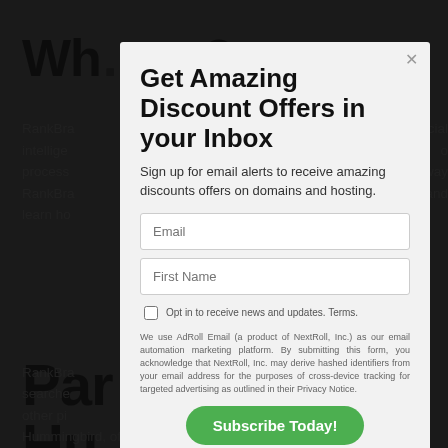Wh…?
RankBra… artificial intelligence… process… way RankBra… and learn ho…
Par…
Hu…ch
Alg…
RankBra… searches… ar some other pie… Hummingbird, of which other elements are:
Get Amazing Discount Offers in your Inbox
Sign up for email alerts to receive amazing discounts offers on domains and hosting.
Email
First Name
Opt in to receive news and updates. Terms.
We use AdRoll Email (a product of NextRoll, Inc.) as our email automation marketing platform. By submitting this form, you acknowledge that NextRoll, Inc. may derive hashed identifiers from your email address for the purposes of cross-device tracking for targeted advertising as outlined in their Privacy Notice.
Subscribe Today!
No, thank you
ResellerBytes | Plot # 840, Block 5, Liaquatabad, Pakistan 75900
Powered by AdRoll